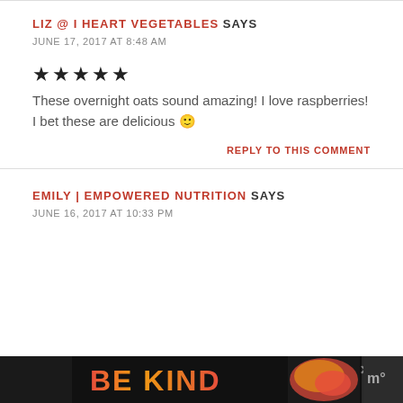LIZ @ I HEART VEGETABLES SAYS
JUNE 17, 2017 AT 8:48 AM
★★★★★
These overnight oats sound amazing! I love raspberries! I bet these are delicious 🙂
REPLY TO THIS COMMENT
EMILY | EMPOWERED NUTRITION SAYS
JUNE 16, 2017 AT 10:33 PM
[Figure (other): Advertisement bar at the bottom showing 'BE KIND' text in colorful letters with decorative logo and close button]